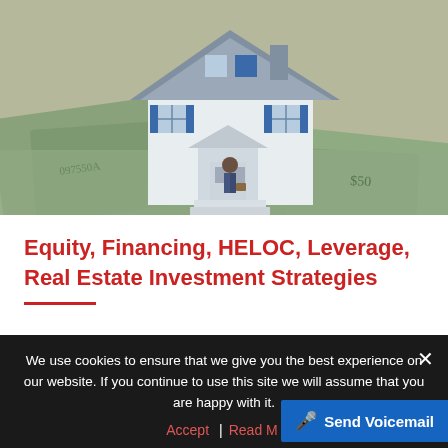[Figure (photo): A miniature model house with blue shutters and a small figurine in the doorway, sitting on top of a pile of US dollar bills (50s and 100s), representing real estate investment and financial leverage.]
Equity, Financing, HELOC, Leverage, Real Estate Investment Strategies
We use cookies to ensure that we give you the best experience on our website. If you continue to use this site we will assume that you are happy with it.
Accept   Read More
Send Voicemail